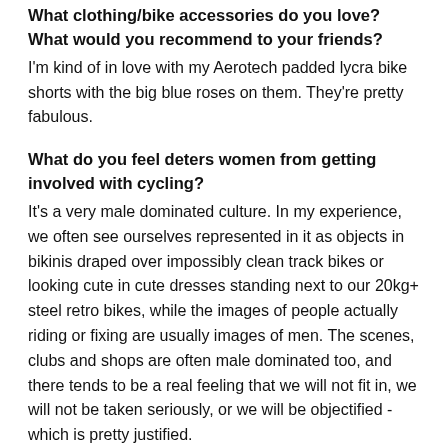What clothing/bike accessories do you love? What would you recommend to your friends?
I'm kind of in love with my Aerotech padded lycra bike shorts with the big blue roses on them. They're pretty fabulous.
What do you feel deters women from getting involved with cycling?
It's a very male dominated culture. In my experience, we often see ourselves represented in it as objects in bikinis draped over impossibly clean track bikes or looking cute in cute dresses standing next to our 20kg+ steel retro bikes, while the images of people actually riding or fixing are usually images of men. The scenes, clubs and shops are often male dominated too, and there tends to be a real feeling that we will not fit in, we will not be taken seriously, or we will be objectified - which is pretty justified.
What do you feel could happen to make changes and/or encourage more women to ride?
Well, I'd like to make some comment about started to d